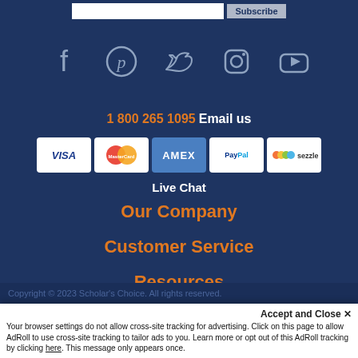[Figure (infographic): Email subscription input bar with 'Enter your email addr...' placeholder and Subscribe button]
[Figure (infographic): Social media icons row: Facebook, Pinterest, Twitter, Instagram, YouTube on dark blue background]
1 800 265 1095  Email us
[Figure (infographic): Payment method logos: VISA, MasterCard, AMEX, PayPal, Sezzle]
Live Chat
Our Company
Customer Service
Resources
Accept and Close ✕
Your browser settings do not allow cross-site tracking for advertising. Click on this page to allow AdRoll to use cross-site tracking to tailor ads to you. Learn more or opt out of this AdRoll tracking by clicking here. This message only appears once.
Copyright © 2023 Scholar's Choice. All rights reserved.